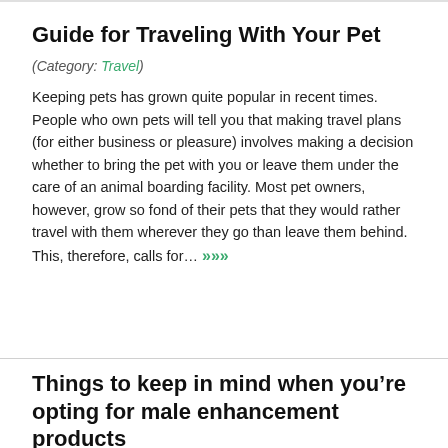Guide for Traveling With Your Pet
(Category: Travel)
Keeping pets has grown quite popular in recent times. People who own pets will tell you that making travel plans (for either business or pleasure) involves making a decision whether to bring the pet with you or leave them under the care of an animal boarding facility. Most pet owners, however, grow so fond of their pets that they would rather travel with them wherever they go than leave them behind. This, therefore, calls for… >>>
Things to keep in mind when you’re opting for male enhancement products